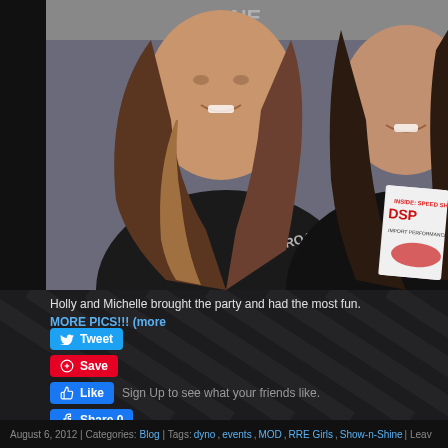[Figure (photo): Two women wearing black Road Race tank tops, one holding a DSPO import performance magazine. Background shows a banner. Photo is cropped close showing them smiling.]
Holly and Michelle brought the party and had the most fun. MORE PICS!!! (more
[Figure (infographic): Social media buttons: Tweet (Twitter/blue), Save (Pinterest/red), Like with Sign Up prompt (Facebook), Share 0 (Facebook)]
August 6, 2012 | Categories: Blog | Tags: dyno, events, MOD, RRE Girls, Show-n-Shine | Leav